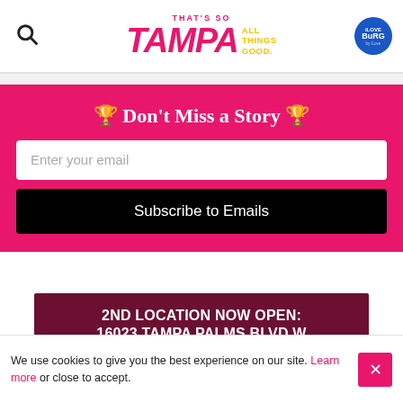[Figure (logo): That's So Tampa – All Things Good. logo with search icon and iLoveBurg circle badge]
🏆 Don't Miss a Story 🏆
Enter your email
Subscribe to Emails
2ND LOCATION NOW OPEN: 16023 Tampa Palms Blvd W
We use cookies to give you the best experience on our site. Learn more or close to accept.